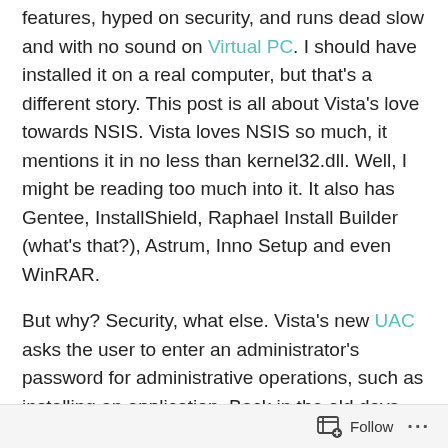features, hyped on security, and runs dead slow and with no sound on Virtual PC. I should have installed it on a real computer, but that's a different story. This post is all about Vista's love towards NSIS. Vista loves NSIS so much, it mentions it in no less than kernel32.dll. Well, I might be reading too much into it. It also has Gentee, InstallShield, Raphael Install Builder (what's that?), Astrum, Inno Setup and even WinRAR.
But why? Security, what else. Vista's new UAC asks the user to enter an administrator's password for administrative operations, such as installing an application. Back in the old days (last Monday), one had to use runas or logout and login as an administrator in order to install an application,
Follow ...